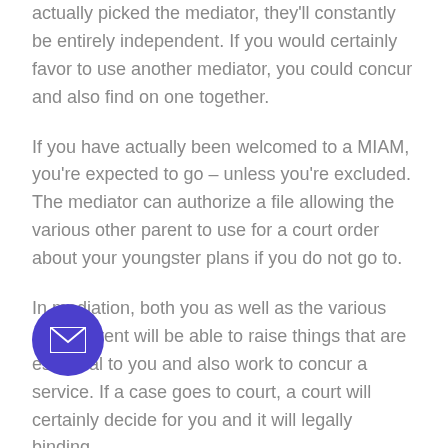actually picked the mediator, they'll constantly be entirely independent. If you would certainly favor to use another mediator, you could concur and also find on one together.
If you have actually been welcomed to a MIAM, you're expected to go – unless you're excluded. The mediator can authorize a file allowing the various other parent to use for a court order about your youngster plans if you do not go to.
In mediation, both you as well as the various other parent will be able to raise things that are essential to you and also work to concur a service. If a case goes to court, a court will certainly decide for you and it will legally binding.
Family mediation benefits lots of people however it is